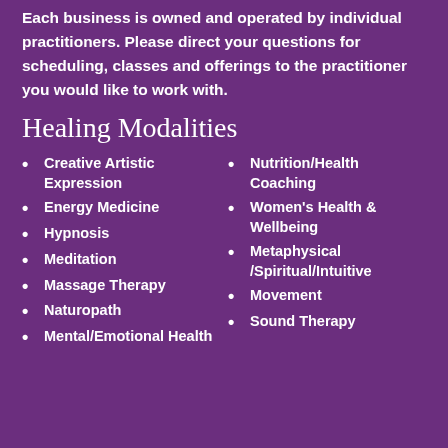Each business is owned and operated by individual practitioners. Please direct your questions for scheduling, classes and offerings to the practitioner you would like to work with.
Healing Modalities
Creative Artistic Expression
Energy Medicine
Hypnosis
Meditation
Massage Therapy
Naturopath
Mental/Emotional Health
Nutrition/Health Coaching
Women's Health & Wellbeing
Metaphysical/Spiritual/Intuitive
Movement
Sound Therapy